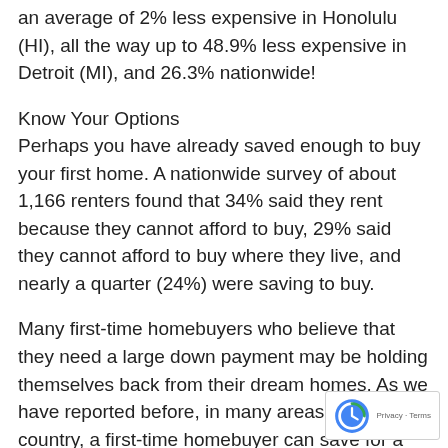an average of 2% less expensive in Honolulu (HI), all the way up to 48.9% less expensive in Detroit (MI), and 26.3% nationwide!
Know Your Options
Perhaps you have already saved enough to buy your first home. A nationwide survey of about 1,166 renters found that 34% said they rent because they cannot afford to buy, 29% said they cannot afford to buy where they live, and nearly a quarter (24%) were saving to buy.
Many first-time homebuyers who believe that they need a large down payment may be holding themselves back from their dream homes. As we have reported before, in many areas of the country, a first-time homebuyer can save for a 3% down payment in less than